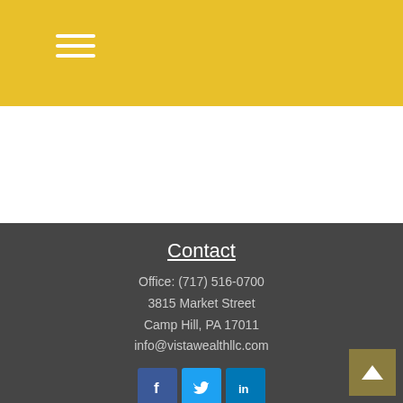Navigation menu icon (hamburger)
Contact
Office: (717) 516-0700
3815 Market Street
Camp Hill, PA 17011
info@vistawealthllc.com
[Figure (infographic): Social media icons: Facebook, Twitter, LinkedIn]
Quick Links
Retirement
Investment
Estate
Insurance
Tax
Money